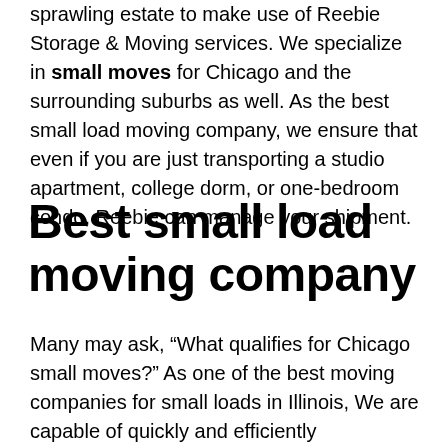sprawling estate to make use of Reebie Storage & Moving services. We specialize in small moves for Chicago and the surrounding suburbs as well. As the best small load moving company, we ensure that even if you are just transporting a studio apartment, college dorm, or one-bedroom condo, Reebie can manage your shipment.
Best small load moving company
Many may ask, “What qualifies for Chicago small moves?” As one of the best moving companies for small loads in Illinois, We are capable of quickly and efficiently transporting any shipments of up to three or four rooms of furniture. Just because